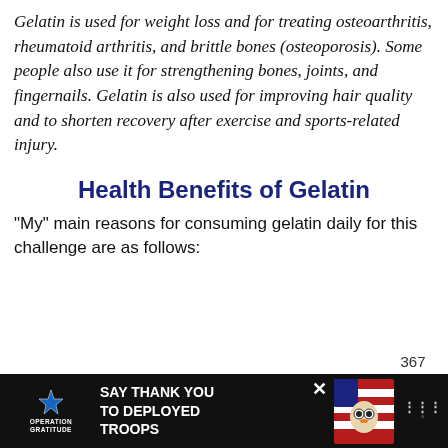Gelatin is used for weight loss and for treating osteoarthritis, rheumatoid arthritis, and brittle bones (osteoporosis). Some people also use it for strengthening bones, joints, and fingernails. Gelatin is also used for improving hair quality and to shorten recovery after exercise and sports-related injury.
Health Benefits of Gelatin
"My" main reasons for consuming gelatin daily for this challenge are as follows:
[Figure (other): Teal circular heart/like button with count 367 below it, and a share button beneath that]
[Figure (other): Advertisement banner: Operation Gratitude 'Say Thank You to Deployed Troops' ad with patriotic imagery and owl mascot on black background]